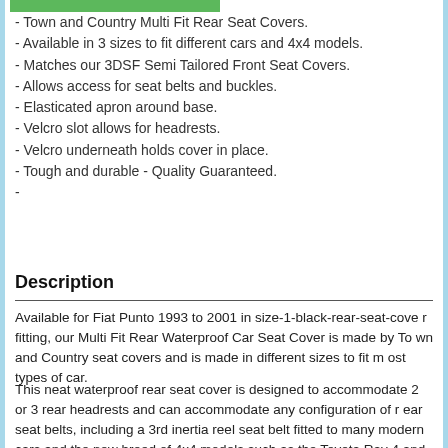[Figure (other): Green progress bar at top of page]
- Town and Country Multi Fit Rear Seat Covers.
- Available in 3 sizes to fit different cars and 4x4 models.
- Matches our 3DSF Semi Tailored Front Seat Covers.
- Allows access for seat belts and buckles.
- Elasticated apron around base.
- Velcro slot allows for headrests.
- Velcro underneath holds cover in place.
- Tough and durable - Quality Guaranteed.
-
Description
Available for Fiat Punto 1993 to 2001 in size-1-black-rear-seat-cover fitting, our Multi Fit Rear Waterproof Car Seat Cover is made by Town and Country seat covers and is made in different sizes to fit most types of car.
This neat waterproof rear seat cover is designed to accommodate 2 or 3 rear headrests and can accommodate any configuration of rear seat belts, including a 3rd inertia reel seat belt fitted to many modern cars and the new breed of 4x4 models such as the Toyota Rav 4 and Honda CRV. This seat cover will also accommodate ISO fix child seats.